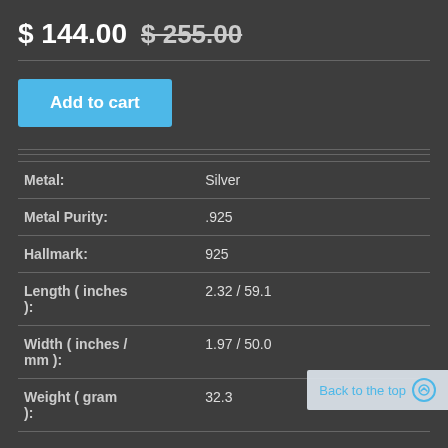$ 144.00 $ 255.00
Add to cart
| Property | Value |
| --- | --- |
| Metal: | Silver |
| Metal Purity: | .925 |
| Hallmark: | 925 |
| Length ( inches ): | 2.32 / 59.1 |
| Width ( inches / mm ): | 1.97 / 50.0 |
| Weight ( gram ): | 32.3 |
Back to the top